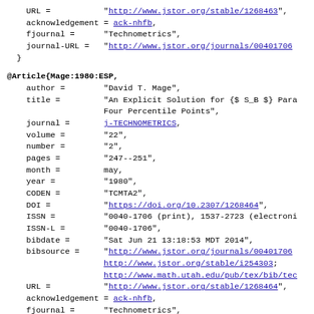URL = "http://www.jstor.org/stable/1268463",
acknowledgement = ack-nhfb,
fjournal = "Technometrics",
journal-URL = "http://www.jstor.org/journals/00401706
}
@Article{Mage:1980:ESP,
  author = "David T. Mage",
  title = "An Explicit Solution for {$ S_B $} Parameters from Four Percentile Points",
  journal = j-TECHNOMETRICS,
  volume = "22",
  number = "2",
  pages = "247--251",
  month = may,
  year = "1980",
  CODEN = "TCMTA2",
  DOI = "https://doi.org/10.2307/1268464",
  ISSN = "0040-1706 (print), 1537-2723 (electronic)",
  ISSN-L = "0040-1706",
  bibdate = "Sat Jun 21 13:18:53 MDT 2014",
  bibsource = "http://www.jstor.org/journals/00401706;
               http://www.jstor.org/stable/i254303;
               http://www.math.utah.edu/pub/tex/bib/tec",
  URL = "http://www.jstor.org/stable/1268464",
  acknowledgement = ack-nhfb,
  fjournal = "Technometrics",
  journal-URL = "http://www.jstor.org/journals/00401706
}